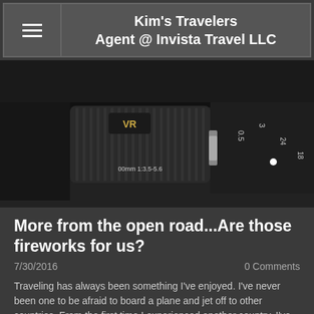Kim's Travelers Agent @ Invista Travel LLC
[Figure (photo): Close-up photo of a camera lens (VR lens, 1:3.5-5.6, showing focus ring and aperture markings including 0.5, 3, 24, 18) against a dark background]
More from the open road...Are those fireworks for us?
7/30/2016
0 Comments
Traveling has always been something I've enjoyed. I've never been one to be afraid to board a plane and jet off to other countries. From the first time I experienced another country, I've been mindful of a